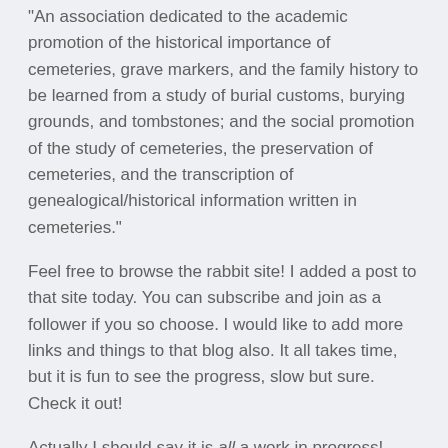"An association dedicated to the academic promotion of the historical importance of cemeteries, grave markers, and the family history to be learned from a study of burial customs, burying grounds, and tombstones; and the social promotion of the study of cemeteries, the preservation of cemeteries, and the transcription of genealogical/historical information written in cemeteries."
Feel free to browse the rabbit site! I added a post to that site today. You can subscribe and join as a follower if you so choose. I would like to add more links and things to that blog also. It all takes time, but it is fun to see the progress, slow but sure. Check it out!
Actually I should say it is all a work in progress!
Thanks for stopping by!
Wishing you success in all of your genealogical treasure